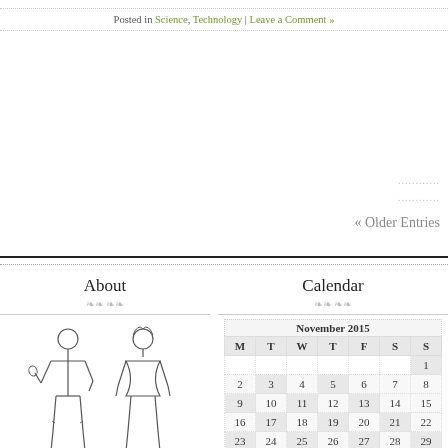Posted in Science, Technology | Leave a Comment »
« Older Entries
About
[Figure (illustration): Line drawing of two human figures, male and female, standing upright]
Calendar
| M | T | W | T | F | S | S |
| --- | --- | --- | --- | --- | --- | --- |
|  |  |  |  |  |  | 1 |
| 2 | 3 | 4 | 5 | 6 | 7 | 8 |
| 9 | 10 | 11 | 12 | 13 | 14 | 15 |
| 16 | 17 | 18 | 19 | 20 | 21 | 22 |
| 23 | 24 | 25 | 26 | 27 | 28 | 29 |
| 30 |  |  |  |  |  |  |